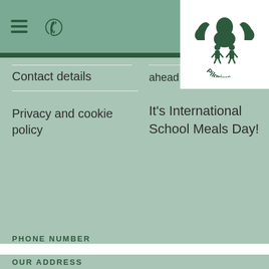[Figure (logo): Pilgrims school meals logo: eagle/bird with two children figures beneath, circular badge with 'Pilgrims' text]
Contact details
Privacy and cookie policy
ahead for
It's International School Meals Day!
PHONE NUMBER
This site uses cookies. By continuing to browse the site you are agreeing to our use of cookies. More information
Continue
OUR ADDRESS